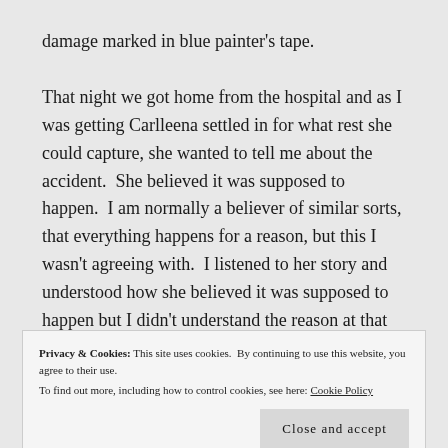damage marked in blue painter's tape.
That night we got home from the hospital and as I was getting Carlleena settled in for what rest she could capture, she wanted to tell me about the accident.  She believed it was supposed to happen.  I am normally a believer of similar sorts, that everything happens for a reason, but this I wasn't agreeing with.  I listened to her story and understood how she believed it was supposed to happen but I didn't understand the reason at that moment.  I since have learned that when bad things
Privacy & Cookies: This site uses cookies.  By continuing to use this website, you agree to their use.
To find out more, including how to control cookies, see here: Cookie Policy
Close and accept
via helicopter.  Carlleena originally thought that he ran